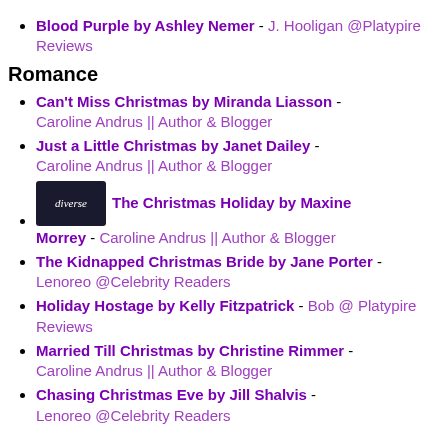Blood Purple by Ashley Nemer - J. Hooligan @Platypire Reviews
Romance
Can't Miss Christmas by Miranda Liasson - Caroline Andrus || Author & Blogger
Just a Little Christmas by Janet Dailey - Caroline Andrus || Author & Blogger
The Christmas Holiday by Maxine Morrey - Caroline Andrus || Author & Blogger
The Kidnapped Christmas Bride by Jane Porter - Lenoreo @Celebrity Readers
Holiday Hostage by Kelly Fitzpatrick - Bob @ Platypire Reviews
Married Till Christmas by Christine Rimmer - Caroline Andrus || Author & Blogger
Chasing Christmas Eve by Jill Shalvis - Lenoreo @Celebrity Readers